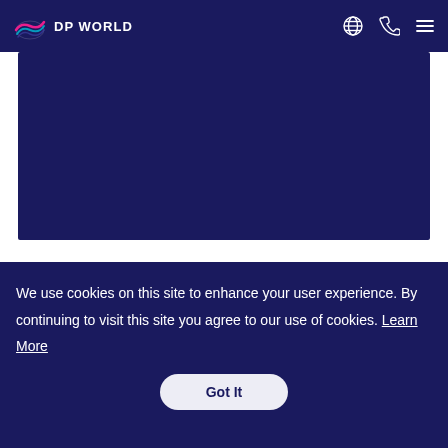[Figure (logo): DP World logo with stylized globe/wave icon and text 'DP WORLD' in white on dark navy navigation bar]
[Figure (other): Dark navy rectangular hero panel below navigation bar]
We use cookies on this site to enhance your user experience. By continuing to visit this site you agree to our use of cookies. Learn More
Got It